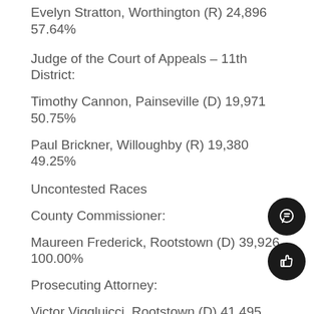Evelyn Stratton, Worthington (R) 24,896 57.64%
Judge of the Court of Appeals – 11th District:
Timothy Cannon, Painseville (D) 19,971 50.75%
Paul Brickner, Willoughby (R) 19,380 49.25%
Uncontested Races
County Commissioner:
Maureen Frederick, Rootstown (D) 39,926 100.00%
Prosecuting Attorney:
Victor Viggluicci, Rootstown (D) 41,495 100.00%
Clerk of Courts:
Linda Fankhauser, Kent (D) 40,590 100.00%
Recorder: